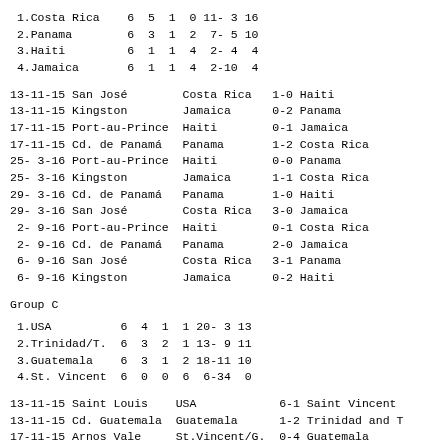| Pos | Team | P | W | D | L | GF-GA | Pts |
| --- | --- | --- | --- | --- | --- | --- | --- |
| 1 | Costa Rica | 6 | 5 | 1 | 0 | 11-3 | 16 |
| 2 | Panama | 6 | 3 | 1 | 2 | 7-5 | 10 |
| 3 | Haiti | 6 | 1 | 1 | 4 | 2-4 | 4 |
| 4 | Jamaica | 6 | 1 | 1 | 4 | 2-10 | 4 |
| Date | Venue | Home | Score | Away |
| --- | --- | --- | --- | --- |
| 13-11-15 | San José | Costa Rica | 1-0 | Haiti |
| 13-11-15 | Kingston | Jamaica | 0-2 | Panama |
| 17-11-15 | Port-au-Prince | Haiti | 0-1 | Jamaica |
| 17-11-15 | Cd. de Panamá | Panama | 1-2 | Costa Rica |
| 25-3-16 | Port-au-Prince | Haiti | 0-0 | Panama |
| 25-3-16 | Kingston | Jamaica | 1-1 | Costa Rica |
| 29-3-16 | Cd. de Panamá | Panama | 1-0 | Haiti |
| 29-3-16 | San José | Costa Rica | 3-0 | Jamaica |
| 2-9-16 | Port-au-Prince | Haiti | 0-1 | Costa Rica |
| 2-9-16 | Cd. de Panamá | Panama | 2-0 | Jamaica |
| 6-9-16 | San José | Costa Rica | 3-1 | Panama |
| 6-9-16 | Kingston | Jamaica | 0-2 | Haiti |
Group C
| Pos | Team | P | W | D | L | GF-GA | Pts |
| --- | --- | --- | --- | --- | --- | --- | --- |
| 1 | USA | 6 | 4 | 1 | 1 | 20-3 | 13 |
| 2 | Trinidad/T. | 6 | 3 | 2 | 1 | 13-9 | 11 |
| 3 | Guatemala | 6 | 3 | 1 | 2 | 18-11 | 10 |
| 4 | St. Vincent | 6 | 0 | 0 | 6 | 6-34 | 0 |
| Date | Venue | Home | Score | Away |
| --- | --- | --- | --- | --- |
| 13-11-15 | Saint Louis | USA | 6-1 | Saint Vincent |
| 13-11-15 | Cd. Guatemala | Guatemala | 1-2 | Trinidad and T |
| 17-11-15 | Arnos Vale | St.Vincent/G. | 0-4 | Guatemala |
| 17-11-15 | Port of Spain | Trinidad/Tob. | 0-0 | USA |
| 25-3-16 | Arnos Vale | St.Vincent/G. | 0-2 | Trinidad and T |